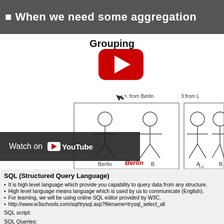When we need some aggregation
[Figure (screenshot): YouTube video thumbnail showing 'Grouping' SQL lesson with stick figures grouped by city (Berlin, London). Includes YouTube play button overlay and 'Watch on YouTube' bar.]
SQL (Structured Query Language)
It is high level language which provide you capability to query data from any structure.
High level language means language which is used by us to communicate (English).
For learning, we will be using online SQL editor provided by W3C.
http://www.w3schools.com/sql/trysql.asp?filename=trysql_select_all
SQL script:
SQL Queries:
Using Wild Card (*) :
Selecting all data
SELECT * FROM CUSTOMERS
Specific Columns: